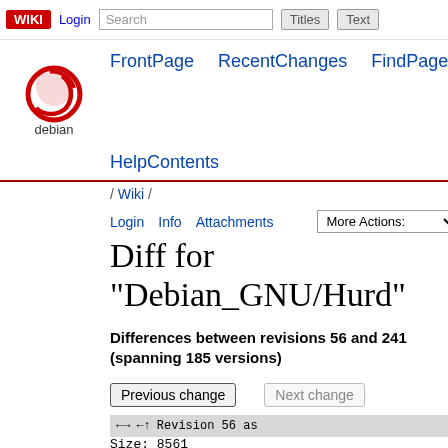WIKI  Login  Search  Titles  Text
FrontPage  RecentChanges  FindPage
[Figure (logo): Debian swirl logo with text 'debian' below]
HelpContents
/ Wiki /
Login  Info  Attachments  More Actions:
Diff for "Debian_GNU/Hurd"
Differences between revisions 56 and 241 (spanning 185 versions)
Previous change   Next change
Revision 56 as
Size: 8561
Editor: SamuelThibault
Comment:
Deletions are marked like this.
Line 2: